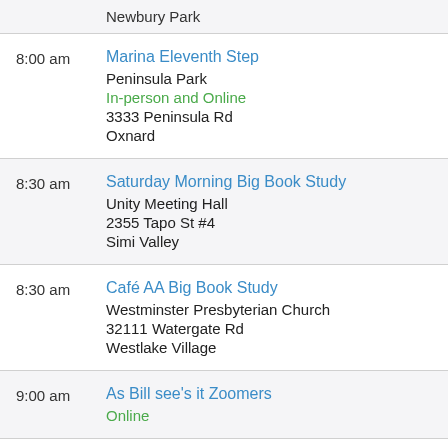Newbury Park
8:00 am | Marina Eleventh Step | Peninsula Park | In-person and Online | 3333 Peninsula Rd | Oxnard
8:30 am | Saturday Morning Big Book Study | Unity Meeting Hall | 2355 Tapo St #4 | Simi Valley
8:30 am | Café AA Big Book Study | Westminster Presbyterian Church | 32111 Watergate Rd | Westlake Village
9:00 am | As Bill see's it Zoomers | Online | Santa Rosa...